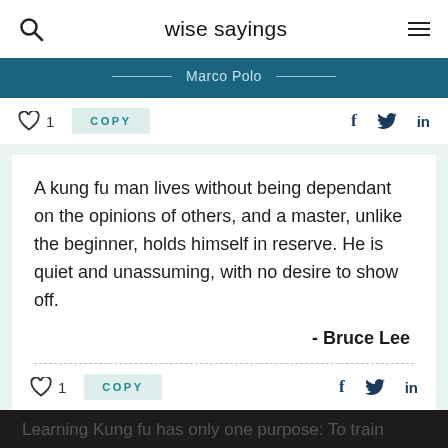wise sayings
— Marco Polo —
1  COPY   f  twitter  in
A kung fu man lives without being dependant on the opinions of others, and a master, unlike the beginner, holds himself in reserve. He is quiet and unassuming, with no desire to show off.
- Bruce Lee
1  COPY   f  twitter  in
Learning Kung fu has only one purpose: To train